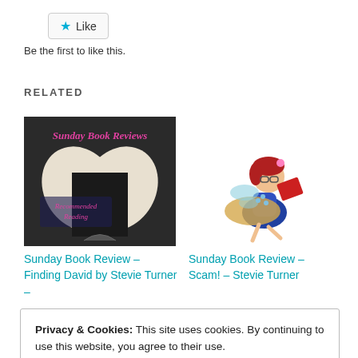[Figure (other): Like button with star icon]
Be the first to like this.
RELATED
[Figure (illustration): Sunday Book Reviews - Recommended Reading book heart image]
[Figure (illustration): Cartoon fairy girl reading a book]
Sunday Book Review – Finding David by Stevie Turner –
Sunday Book Review – Scam! – Stevie Turner
Privacy & Cookies: This site uses cookies. By continuing to use this website, you agree to their use.
To find out more, including how to control cookies, see here: Cookie Policy
Close and accept